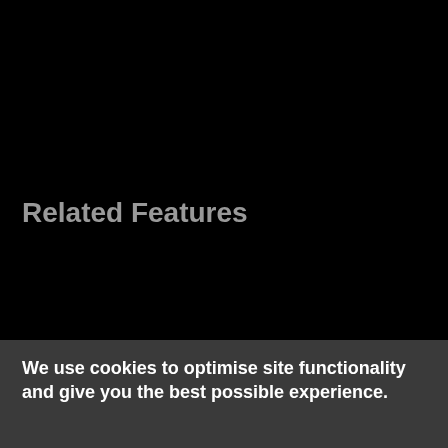Related Features
We use cookies to optimise site functionality and give you the best possible experience.